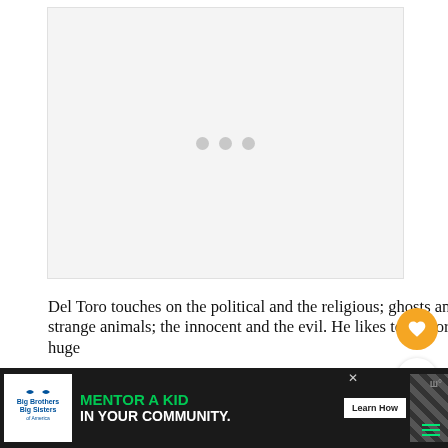[Figure (other): Gray placeholder area with three dots indicating a loading advertisement or image]
Del Toro touches on the political and the religious; ghosts and strange animals; the innocent and the evil. He likes to explore huge
[Figure (other): Big Brothers Big Sisters advertisement: MENTOR A KID IN YOUR COMMUNITY. Learn How button.]